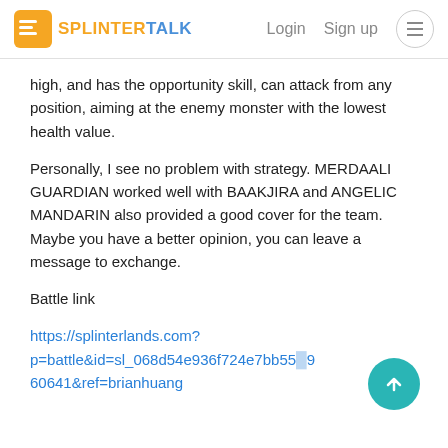SPLINTERTALK   Login   Sign up
high, and has the opportunity skill, can attack from any position, aiming at the enemy monster with the lowest health value.
Personally, I see no problem with strategy. MERDAALI GUARDIAN worked well with BAAKJIRA and ANGELIC MANDARIN also provided a good cover for the team. Maybe you have a better opinion, you can leave a message to exchange.
Battle link
https://splinterlands.com?p=battle&id=sl_068d54e936f724e7bb55...960641&ref=brianhuang